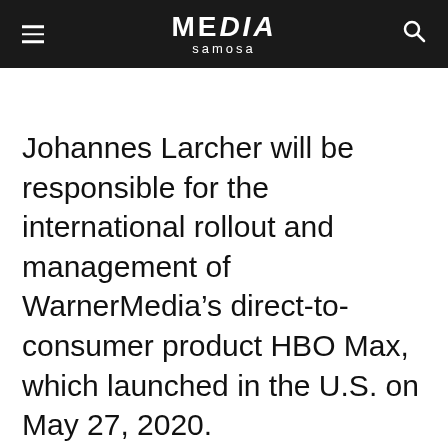MEDIA samosa
Johannes Larcher will be responsible for the international rollout and management of WarnerMedia’s direct-to-consumer product HBO Max, which launched in the U.S. on May 27, 2020.